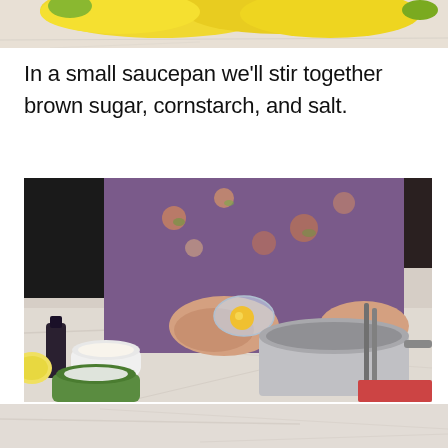[Figure (photo): Top portion of a photo showing yellow bananas on a marble surface, cropped to show just the bottom edge of the bananas]
In a small saucepan we'll stir together brown sugar, cornstarch, and salt.
[Figure (photo): A person wearing a purple floral blouse pouring an egg yolk from a small glass bowl into a stainless steel saucepan on a marble countertop. Various ingredients visible including a white ramekin, a green dish with white powder (likely cornstarch or sugar), a lemon half, and a dark bottle in the background.]
[Figure (photo): Bottom strip of a photo showing a marble countertop, continuation of the cooking scene below]